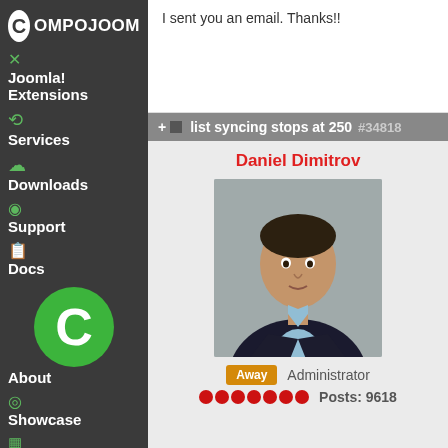[Figure (logo): Compojoom logo with white C circle and white text]
Joomla! Extensions
Services
Downloads
Support
Docs
[Figure (logo): Green circle with white C letter]
About
Showcase
Blog
I sent you an email. Thanks!!
list syncing stops at 250 #34818
Daniel Dimitrov
[Figure (photo): Profile photo of Daniel Dimitrov, a man in dark suit with light blue shirt]
Away   Administrator
Posts: 9618